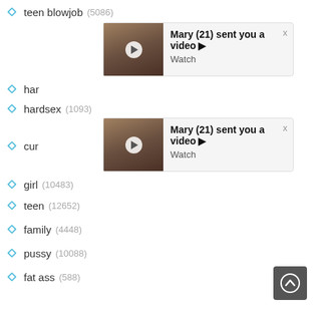teen blowjob (5086)
[Figure (screenshot): Notification popup: Mary (21) sent you a video. Watch. With thumbnail image and close button.]
hardsex (1093)
[Figure (screenshot): Notification popup: Mary (21) sent you a video. Watch. With thumbnail image and close button.]
girl (10483)
teen (12652)
family (4448)
pussy (10088)
fat ass (588)